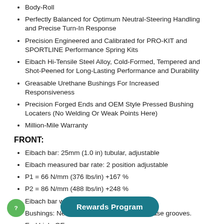Body-Roll
Perfectly Balanced for Optimum Neutral-Steering Handling and Precise Turn-In Response
Precision Engineered and Calibrated for PRO-KIT and SPORTLINE Performance Spring Kits
Eibach Hi-Tensile Steel Alloy, Cold-Formed, Tempered and Shot-Peened for Long-Lasting Performance and Durability
Greasable Urethane Bushings For Increased Responsiveness
Precision Forged Ends and OEM Style Pressed Bushing Locaters (No Welding Or Weak Points Here)
Million-Mile Warranty
FRONT:
Eibach bar: 25mm (1.0 in) tubular, adjustable
Eibach measured bar rate: 2 position adjustable
P1 = 66 N/mm (376 lbs/in) +167 %
P2 = 86 N/mm (488 lbs/in) +248 %
Eibach bar weight: 3.4 kg (7.5 lbs)
Bushings: New urethane bushings with grease grooves.
End Link: OE
Approxi...